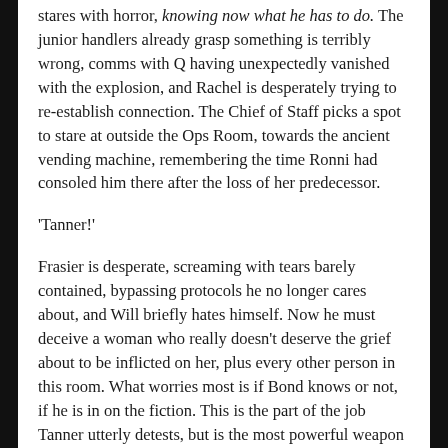stares with horror, knowing now what he has to do. The junior handlers already grasp something is terribly wrong, comms with Q having unexpectedly vanished with the explosion, and Rachel is desperately trying to re-establish connection. The Chief of Staff picks a spot to stare at outside the Ops Room, towards the ancient vending machine, remembering the time Ronni had consoled him there after the loss of her predecessor.
'Tanner!'
Frasier is desperate, screaming with tears barely contained, bypassing protocols he no longer cares about, and Will briefly hates himself. Now he must deceive a woman who really doesn't deserve the grief about to be inflicted on her, plus every other person in this room. What worries most is if Bond knows or not, if he is in on the fiction. This is the part of the job Tanner utterly detests, but is the most powerful weapon of all. Lying for